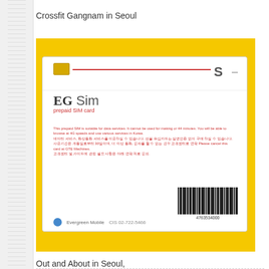Crossfit Gangnam in Seoul
[Figure (photo): Photo of an EG Sim card (Evergreen Mobile SIM card) with yellow packaging, showing the back of the card with Korean text, a barcode, and the Evergreen Mobile logo with customer service number CIS 02-722-5466]
Out and About in Seoul, South Korea
Tagged as: Annual Travel Summary, Asia
{ 3 comments… read them below or add one }